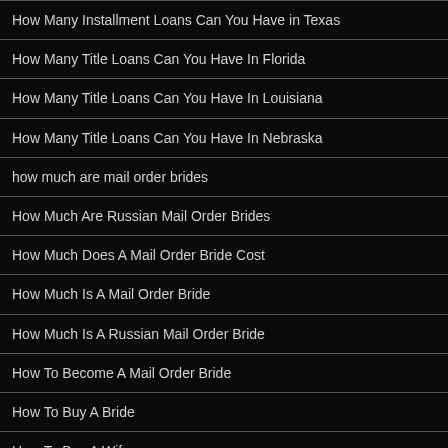How Many Installment Loans Can You Have in Texas
How Many Title Loans Can You Have In Florida
How Many Title Loans Can You Have In Louisiana
How Many Title Loans Can You Have In Nebraska
how much are mail order brides
How Much Are Russian Mail Order Brides
How Much Does A Mail Order Bride Cost
How Much Is A Mail Order Bride
How Much Is A Russian Mail Order Bride
How To Become A Mail Order Bride
How To Buy A Bride
How To Buy A Wife
How To Create A Free Website